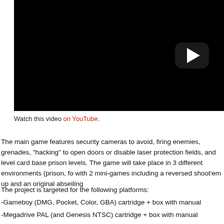[Figure (screenshot): Black video player thumbnail with a play button (rounded rectangle with white triangle) in the upper right area]
Watch this video on YouTube.
The main game features security cameras to avoid, firing enemies, grenades, "hacking" to open doors or disable laser protection fields, and level card based prison levels. The game will take place in 3 different environments (prison, fo... with 2 mini-games including a reversed shoot’em up and an original abseiling...
The project is targeted for the following platforms:
-Gameboy (DMG, Pocket, Color, GBA) cartridge + box with manual
-Megadrive PAL (and Genesis NTSC) cartridge + box with manual